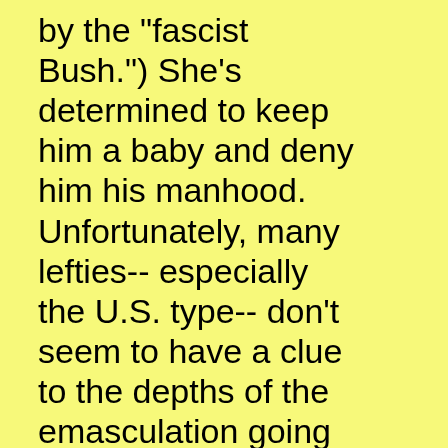by the "fascist Bush.") She's determined to keep him a baby and deny him his manhood. Unfortunately, many lefties-- especially the U.S. type-- don't seem to have a clue to the depths of the emasculation going on here. No wonder the rest of the family sees this